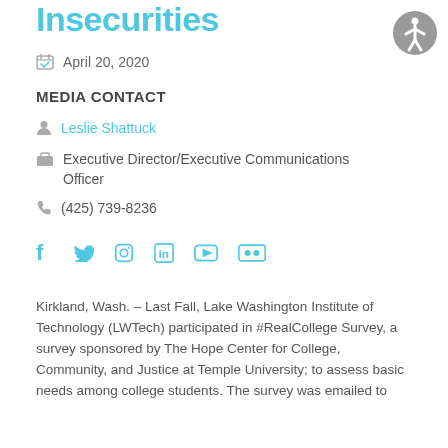Insecurities
April 20, 2020
MEDIA CONTACT
Leslie Shattuck
Executive Director/Executive Communications Officer
(425) 739-8236
[Figure (other): Social media icons: Facebook, Twitter, Instagram, LinkedIn, YouTube, Flickr]
Kirkland, Wash. – Last Fall, Lake Washington Institute of Technology (LWTech) participated in #RealCollege Survey, a survey sponsored by The Hope Center for College, Community, and Justice at Temple University; to assess basic needs among college students. The survey was emailed to